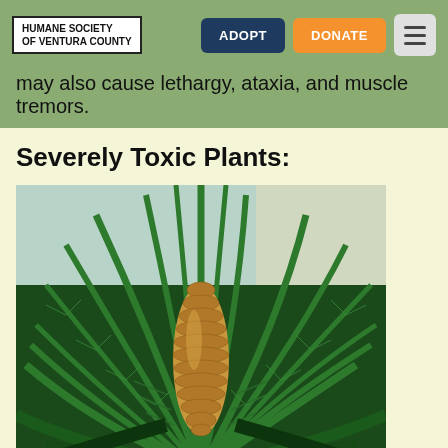HUMANE SOCIETY OF VENTURA COUNTY | ADOPT | DONATE
may also cause lethargy, ataxia, and muscle tremors.
Severely Toxic Plants:
[Figure (photo): Photograph of a sago palm plant with long green fronds radiating outward and a prominent tall golden-yellow cone-shaped seed structure in the center.]